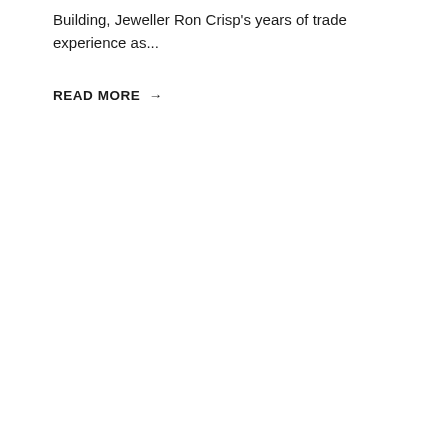Building, Jeweller Ron Crisp's years of trade experience as...
READ MORE →